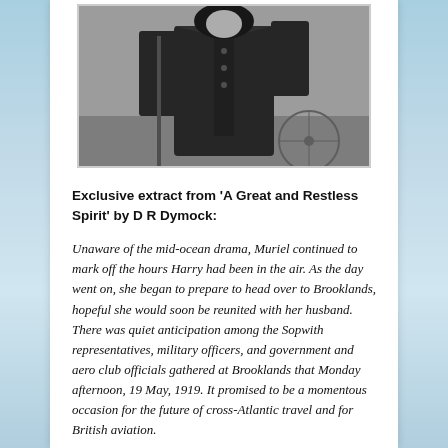[Figure (photo): Black and white photograph of a person in a military or aviation jacket, cropped at torso level, with what appears to be a bicycle wheel visible in the background.]
Exclusive extract from ‘A Great and Restless Spirit’ by D R Dymock:
Unaware of the mid-ocean drama, Muriel continued to mark off the hours Harry had been in the air. As the day went on, she began to prepare to head over to Brooklands, hopeful she would soon be reunited with her husband. There was quiet anticipation among the Sopwith representatives, military officers, and government and aero club officials gathered at Brooklands that Monday afternoon, 19 May, 1919. It promised to be a momentous occasion for the future of cross-Atlantic travel and for British aviation.